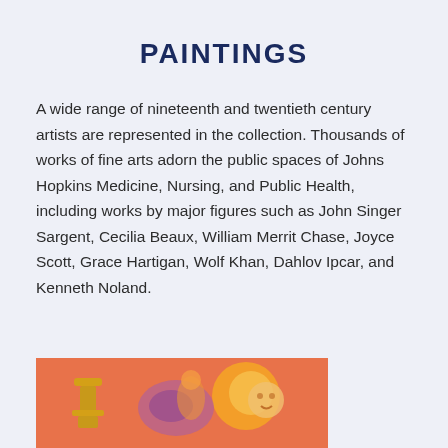PAINTINGS
A wide range of nineteenth and twentieth century artists are represented in the collection. Thousands of works of fine arts adorn the public spaces of Johns Hopkins Medicine, Nursing, and Public Health, including works by major figures such as John Singer Sargent, Cecilia Beaux, William Merrit Chase, Joyce Scott, Grace Hartigan, Wolf Khan, Dahlov Ipcar, and Kenneth Noland.
[Figure (photo): A colorful painting featuring orange and yellow figures on a warm reddish-orange background, partially visible at the bottom of the page.]